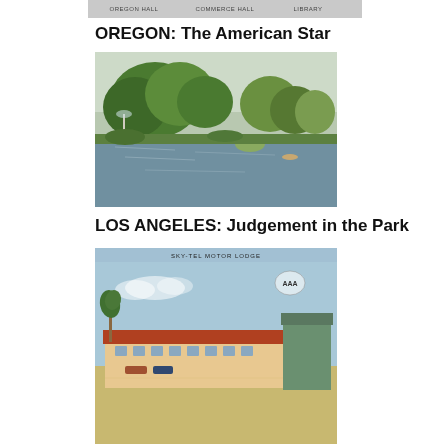[Figure (photo): Top strip showing tabs labeled OREGON HALL, COMMERCE HALL, LIBRARY in a grey banner]
OREGON: The American Star
[Figure (photo): Vintage postcard of The Lake, Hollenbeck Park, Los Angeles, Cal. showing a peaceful lake surrounded by large green trees with a small fountain or structure visible, sky reflected in water.]
LOS ANGELES: Judgement in the Park
[Figure (photo): Vintage postcard of SKY-TEL MOTOR LODGE showing a low Spanish-style motel building with red tile roof, palm tree, and light blue sky in background.]